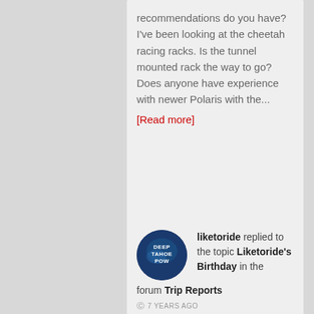recommendations do you have? I've been looking at the cheetah racing racks. Is the tunnel mounted rack the way to go? Does anyone have experience with newer Polaris with the...
[Read more]
[Figure (photo): Circular avatar image with dark blue background showing text 'DEEP TAHOE POW' in white letters]
liketoride replied to the topic Liketoride's Birthday in the forum Trip Reports
7 YEARS AGO